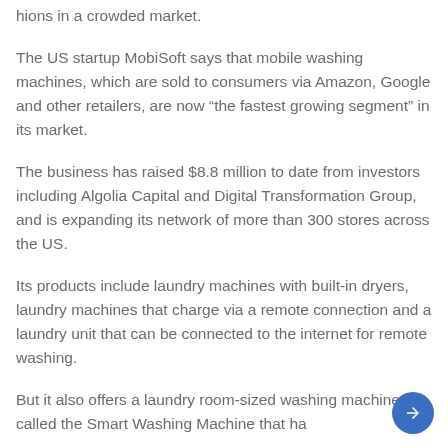hions in a crowded market.
The US startup MobiSoft says that mobile washing machines, which are sold to consumers via Amazon, Google and other retailers, are now “the fastest growing segment” in its market.
The business has raised $8.8 million to date from investors including Algolia Capital and Digital Transformation Group, and is expanding its network of more than 300 stores across the US.
Its products include laundry machines with built-in dryers, laundry machines that charge via a remote connection and a laundry unit that can be connected to the internet for remote washing.
But it also offers a laundry room-sized washing machine called the Smart Washing Machine that ha… built-in all…